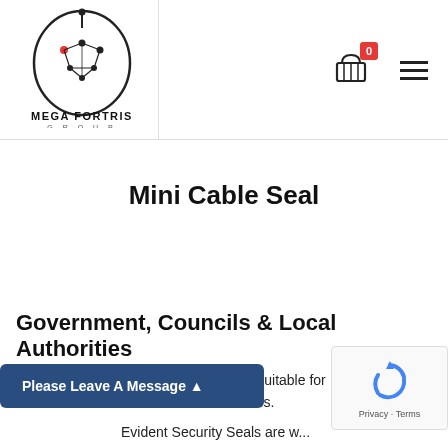Mega Fortris Group logo with cart icon and navigation menu
Mini Cable Seal
Government, Councils & Local Authorities
Mega Fortris have a range of products suitable for Government Councils & Local Authorities.
Please Leave A Message
Evident Security Seals are w... as including sealing ATM...